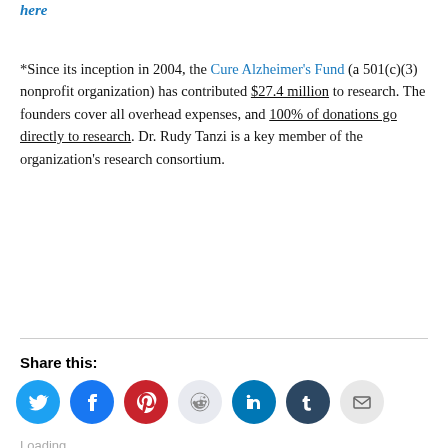Join the #RememberMe movement. Learn more here
*Since its inception in 2004, the Cure Alzheimer's Fund (a 501(c)(3) nonprofit organization) has contributed $27.4 million to research. The founders cover all overhead expenses, and 100% of donations go directly to research. Dr. Rudy Tanzi is a key member of the organization's research consortium.
Share this:
[Figure (infographic): Social share icons: Twitter (blue), Facebook (blue), Pinterest (red), Reddit (light gray), LinkedIn (teal), Tumblr (dark blue), Email (light gray)]
Loading...